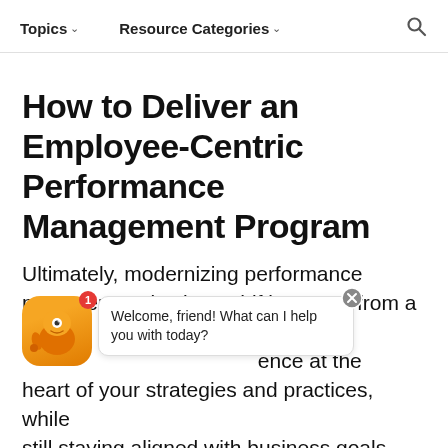Topics   Resource Categories
…breadcrumb navigation…
How to Deliver an Employee-Centric Performance Management Program
Ultimately, modernizing performance management is about shifting away from a … process. …ence at the heart of your strategies and practices, while still staying aligned with business goals.
[Figure (screenshot): Chat widget popup with orange robot icon, badge '1', and bubble saying 'Welcome, friend! What can I help you with today?' with a close button]